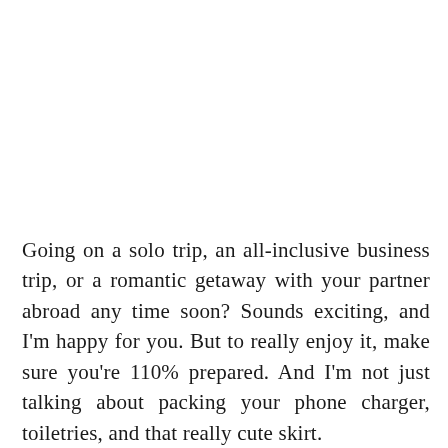Going on a solo trip, an all-inclusive business trip, or a romantic getaway with your partner abroad any time soon? Sounds exciting, and I'm happy for you. But to really enjoy it, make sure you're 110% prepared. And I'm not just talking about packing your phone charger, toiletries, and that really cute skirt.